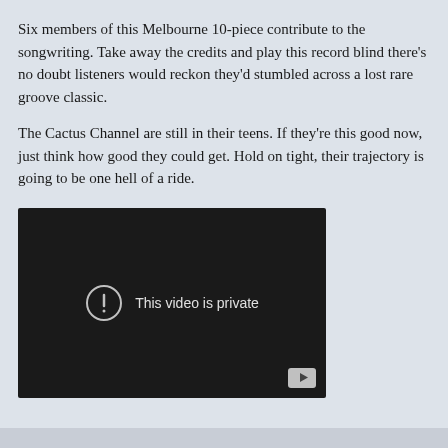Six members of this Melbourne 10-piece contribute to the songwriting. Take away the credits and play this record blind there's no doubt listeners would reckon they'd stumbled across a lost rare groove classic.
The Cactus Channel are still in their teens. If they're this good now, just think how good they could get. Hold on tight, their trajectory is going to be one hell of a ride.
[Figure (screenshot): Embedded video player showing a black screen with a circular warning icon and the text 'This video is private', with a YouTube icon in the bottom right corner.]